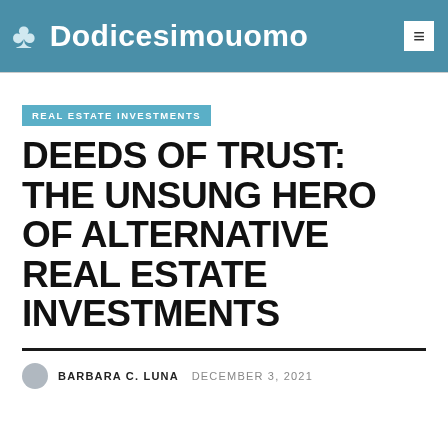Dodicesimouomo
REAL ESTATE INVESTMENTS
DEEDS OF TRUST: THE UNSUNG HERO OF ALTERNATIVE REAL ESTATE INVESTMENTS
BARBARA C. LUNA  DECEMBER 3, 2021